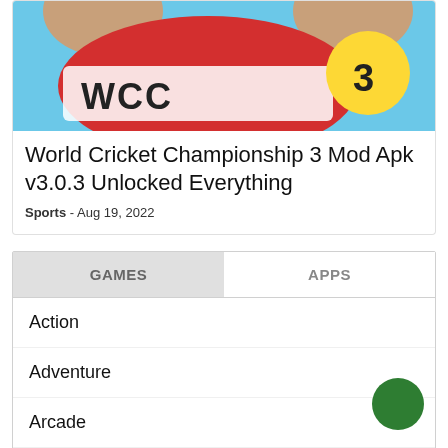[Figure (screenshot): Colorful game banner image for World Cricket Championship 3, showing cricket-themed graphics with blue, red, yellow colors and the number 2/3]
World Cricket Championship 3 Mod Apk v3.0.3 Unlocked Everything
Sports - Aug 19, 2022
GAMES
APPS
Action
Adventure
Arcade
Board